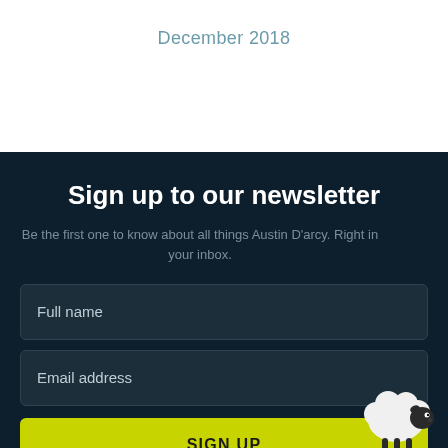December 2018
Sign up to our newsletter
Be the first one to know about all things Austin D'arcy. Right in your inbox.
Full name
Email address
SIGN UP